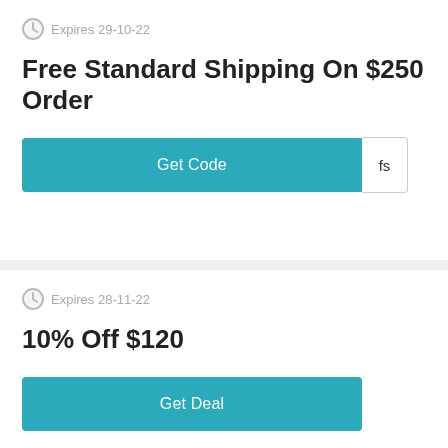Expires 29-10-22
Free Standard Shipping On $250 Order
[Figure (other): Teal 'Get Code' button with a white 'fs' code suffix box]
Expires 28-11-22
10% Off $120
[Figure (other): Teal 'Get Deal' button]
[Figure (other): Gray scroll-to-top circular button with upward chevron]